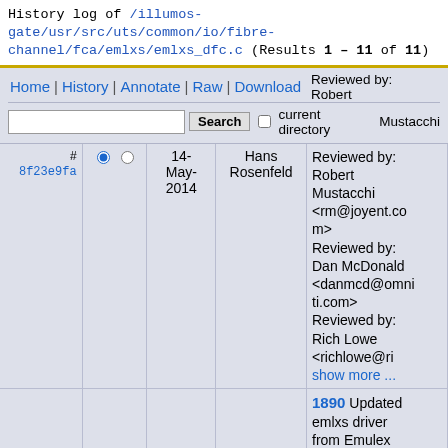History log of /illumos-gate/usr/src/uts/common/io/fibre-channel/fca/emlxs/emlxs_dfc.c (Results 1 – 11 of 11)
Home | History | Annotate | Raw | Download
Search  current directory
| # |  | Date | Author | Description |
| --- | --- | --- | --- | --- |
| # 8f23e9fa | radio buttons | 14-May-2014 | Hans Rosenfeld | Reviewed by: Robert Mustacchi <rm@joyent.com> Reviewed by: Dan McDonald <danmcd@omniti.com> Reviewed by: Rich Lowe <richlowe@ri show more ... |
|  |  |  |  | 1890 Updated emlxs driver from Emulex Reviewed by: Dan McDonald <danmcd@nexenta.com> Reviewed by: |